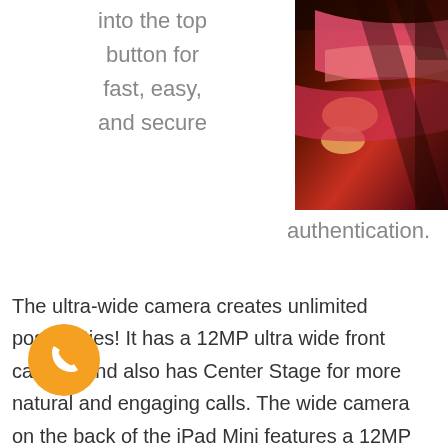into the top button for fast, easy, and secure
[Figure (photo): Close-up photo of iPad Mini showing colorful stripes on the back, pink, orange and dark brown tones.]
authentication.
The ultra-wide camera creates unlimited possibilities! It has a 12MP ultra wide front camera and also has Center Stage for more natural and engaging calls. The wide camera on the back of the iPad Mini features a 12MP sensor with Focus Pixels and a large aperture to capture sharp, vivid photos. With the A15 Bionic chip, it enables Smart HDR 3 to capture higher imagines. It also includes True Tone Flash to improve photos in low light.  You can also use True Tone Flash to...